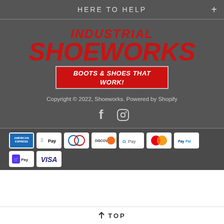HERE TO HELP
[Figure (logo): Industrial Shoeworks logo with red italic text 'INDUSTRIAL SHOEWORKS' and red banner 'BOOTS & SHOES THAT WORK!']
Copyright © 2022, Shoeworks. Powered by Shopify
[Figure (other): Facebook and Instagram social media icons]
[Figure (other): Payment method icons: American Express, Apple Pay, Diners Club, Discover, Google Pay, Mastercard, PayPal, Shop Pay, Visa]
↑ TOP